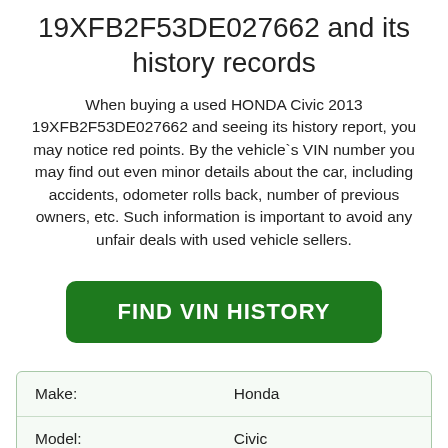19XFB2F53DE027662 and its history records
When buying a used HONDA Civic 2013 19XFB2F53DE027662 and seeing its history report, you may notice red points. By the vehicle`s VIN number you may find out even minor details about the car, including accidents, odometer rolls back, number of previous owners, etc. Such information is important to avoid any unfair deals with used vehicle sellers.
[Figure (other): Green rounded button labeled FIND VIN HISTORY]
| Make: | Honda |
| Model: | Civic |